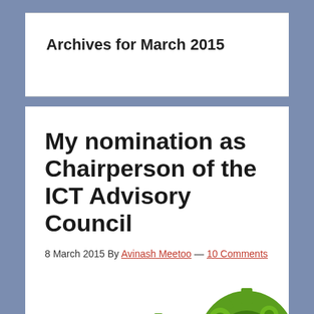Archives for March 2015
My nomination as Chairperson of the ICT Advisory Council
8 March 2015 By Avinash Meetoo — 10 Comments
[Figure (illustration): Three gear-shaped trees made of interlocking green cogs on brown trunks, arranged in ascending size from left to right, representing technology growth.]